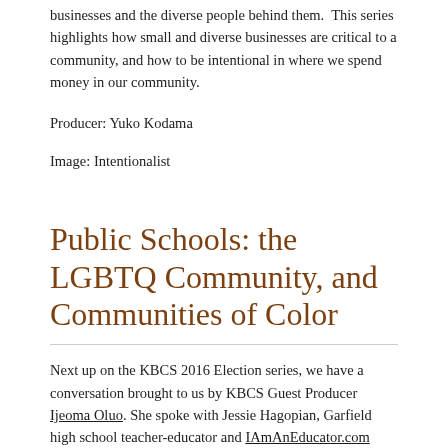businesses and the diverse people behind them. This series highlights how small and diverse businesses are critical to a community, and how to be intentional in where we spend money in our community.
Producer: Yuko Kodama
Image: Intentionalist
Public Schools: the LGBTQ Community, and Communities of Color
Next up on the KBCS 2016 Election series, we have a conversation brought to us by KBCS Guest Producer Ijeoma Oluo. She spoke with Jessie Hagopian, Garfield high school teacher-educator and IAmAnEducator.com blogger, and Sarah Mayes, a transgender parent who transitioned while her two children attended the